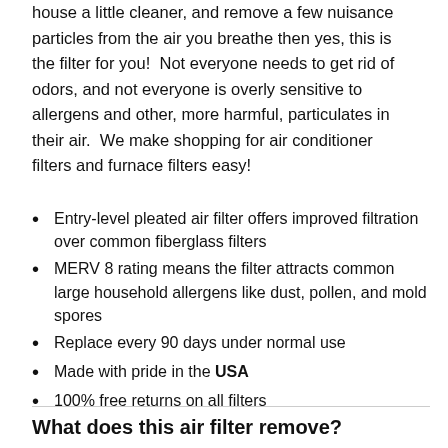house a little cleaner, and remove a few nuisance particles from the air you breathe then yes, this is the filter for you!  Not everyone needs to get rid of odors, and not everyone is overly sensitive to allergens and other, more harmful, particulates in their air.  We make shopping for air conditioner filters and furnace filters easy!
Entry-level pleated air filter offers improved filtration over common fiberglass filters
MERV 8 rating means the filter attracts common large household allergens like dust, pollen, and mold spores
Replace every 90 days under normal use
Made with pride in the USA
100% free returns on all filters
What does this air filter remove?